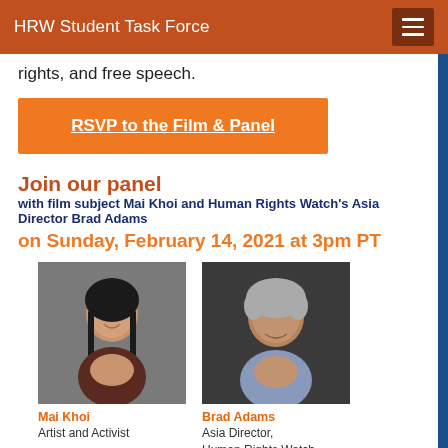HRW Student Task Force
rights, and free speech.
RSVP to the Film & Panel
Join our panel with film subject Mai Khoi and Human Rights Watch's Asia Director Brad Adams on Sunday, February 14, 2021 at 3pm PT
[Figure (photo): Portrait photo of Mai Khoi, a woman with long dark hair, smiling, wearing a floral top]
Mai Khoi
Artist and Activist
[Figure (photo): Portrait photo of Brad Adams, a man with grey curly hair, wearing a light blue shirt]
Brad Adams
Asia Director,
Human Rights Watch